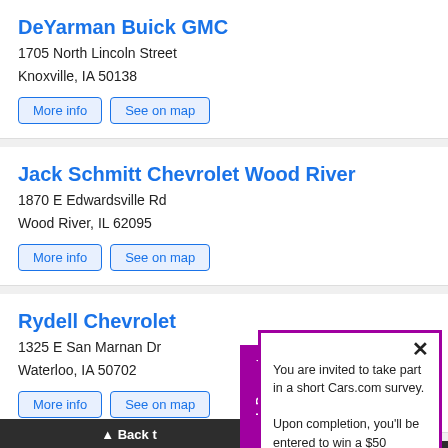DeYarman Buick GMC
1705 North Lincoln Street
Knoxville, IA 50138
More info | See on map
Jack Schmitt Chevrolet Wood River
1870 E Edwardsville Rd
Wood River, IL 62095
More info | See on map
Rydell Chevrolet
1325 E San Marnan Dr
Waterloo, IA 50702
More info | See on map
Jack Phelan Chevrolet
4000 Harlem Ave
Research Request
You are invited to take part in a short Cars.com survey.

Upon completion, you'll be entered to win a $50 amazon gift card. Interested?
Click here to participate
▲ Back t…